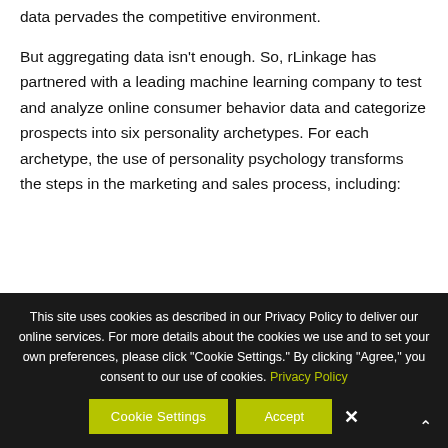data pervades the competitive environment.
But aggregating data isn't enough. So, rLinkage has partnered with a leading machine learning company to test and analyze online consumer behavior data and categorize prospects into six personality archetypes. For each archetype, the use of personality psychology transforms the steps in the marketing and sales process, including:
This site uses cookies as described in our Privacy Policy to deliver our online services. For more details about the cookies we use and to set your own preferences, please click "Cookie Settings." By clicking "Agree," you consent to our use of cookies. Privacy Policy
Cookie Settings  Accept  ✕